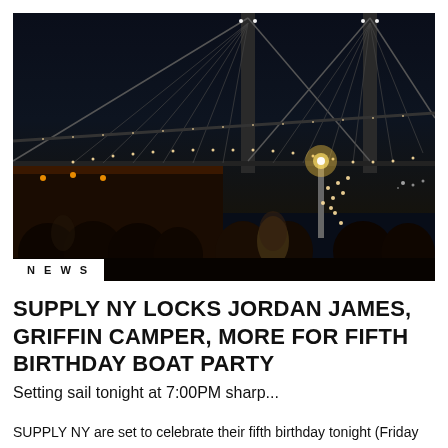[Figure (photo): Night photo of a crowded boat party beneath a lit suspension bridge (Brooklyn Bridge), people gathered on deck with string lights, dark water and city lights in background.]
NEWS
SUPPLY NY LOCKS JORDAN JAMES, GRIFFIN CAMPER, MORE FOR FIFTH BIRTHDAY BOAT PARTY
Setting sail tonight at 7:00PM sharp...
SUPPLY NY are set to celebrate their fifth birthday tonight (Friday